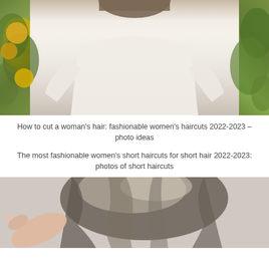[Figure (photo): Photo of a woman with shoulder-length hair wearing a white long-sleeve fitted top, photographed from mid-torso up against a background of green leaves and yellow citrus fruits (lemons or oranges)]
How to cut a woman's hair: fashionable women's haircuts 2022-2023 – photo ideas
The most fashionable women's short haircuts for short hair 2022-2023: photos of short haircuts
[Figure (photo): Photo showing the back of a person's head with a short layered haircut featuring highlighted ash-brown hair, with a hand visible pointing at or touching the hair]